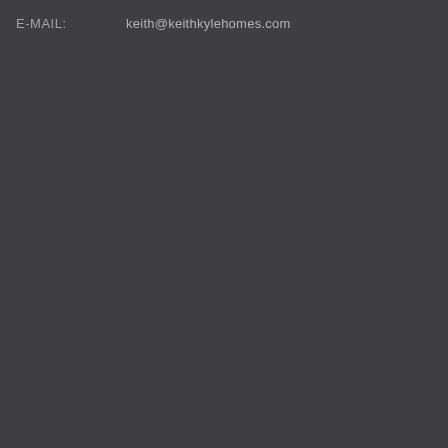E-MAIL:   keith@keithkylehomes.com